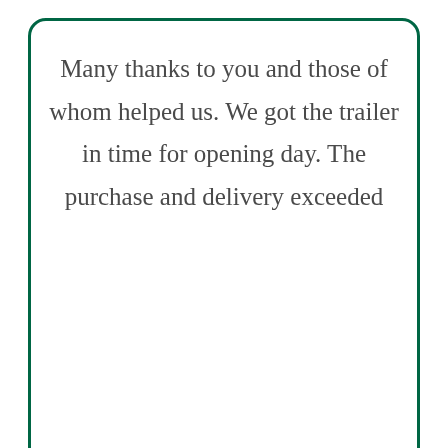Many thanks to you and those of whom helped us. We got the trailer in time for opening day. The purchase and delivery exceeded
Tom
TRADE VALUE
We are here to help!